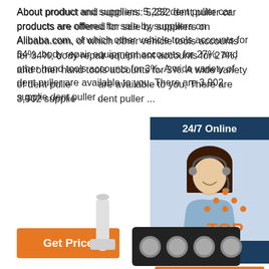About product and suppliers: 5,232 dent puller car products are offered for sale by suppliers on Alibaba.com, of which other vehicle tools accounts for 34%, body repair equipment accounts for 27%, and other hand tools accounts for 3%. A wide variety of dent puller ... are available to you, There are 3,902 supplie... dent puller ...
[Figure (photo): Customer service representative with headset, smiling. Widget with '24/7 Online', 'Click here for free chat!', and 'QUOTATION' button.]
[Figure (logo): BEC brand logo with CE, certification, and Alibaba gold supplier badge icons]
[Figure (photo): Dent puller tool products — white cylindrical puller and a black panel with circular magnets/adapters]
[Figure (logo): TOP icon with orange dots arranged in triangle above text TOP]